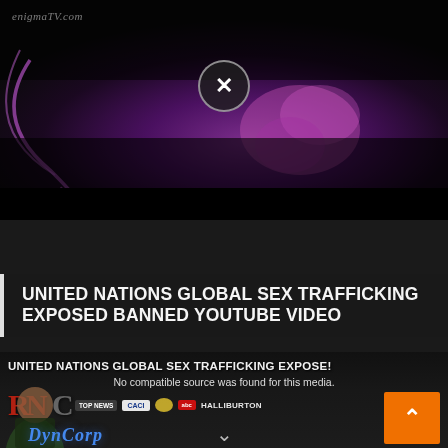[Figure (screenshot): Dark video thumbnail with purple/magenta swirl abstract visual, watermark 'enigmaTV.com' in top left, and a circular close button (X) overlaid in the center]
[Figure (screenshot): Advertisement banner: icon with play button, bold orange italic text 'VITAMIN D3' followed by 'AT THE BRIGHTEON STORE' in black]
UNITED NATIONS GLOBAL SEX TRAFFICKING EXPOSED BANNED YOUTUBE VIDEO
[Figure (screenshot): Embedded video player showing 'UNITED NATIONS GLOBAL SEX TRAFFICKING EXPOSE!' overlay text, 'No compatible source was found for this media.' message, news logos including CACI, Halliburton, and DynCorp branding visible, with orange up-arrow button and down-arrow navigation, person visible at bottom left]